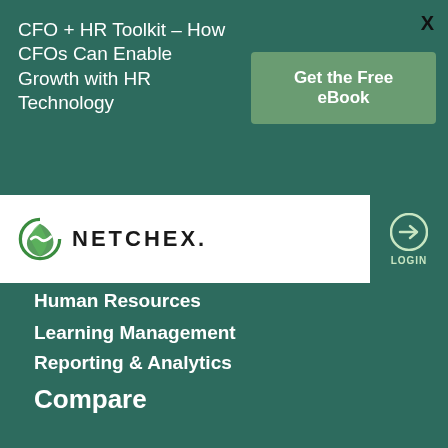CFO + HR Toolkit - How CFOs Can Enable Growth with HR Technology
Get the Free eBook
[Figure (logo): Netchex logo - green leaf/swirl icon with NETCHEX text in bold uppercase]
Human Resources
Learning Management
Reporting & Analytics
Compare
ADP
Kronos
Patriot Software
Paychex
Paycom
Paycor